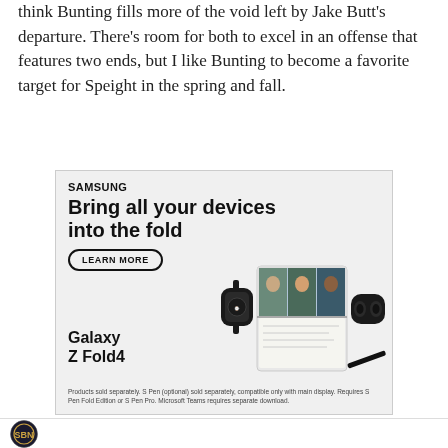think Bunting fills more of the void left by Jake Butt's departure. There's room for both to excel in an offense that features two ends, but I like Bunting to become a favorite target for Speight in the spring and fall.
[Figure (other): Samsung advertisement for Galaxy Z Fold4. Text: SAMSUNG, Bring all your devices into the fold, LEARN MORE button, Galaxy Z Fold4. Shows product images of a smartwatch, foldable phone with video call on screen, and earbuds. Fine print: Products sold separately. S Pen (optional) sold separately, compatible only with main display. Requires S Pen Fold Edition or S Pen Pro. Microsoft Teams requires separate download.]
SB Nation logo | Twitter icon | Facebook icon